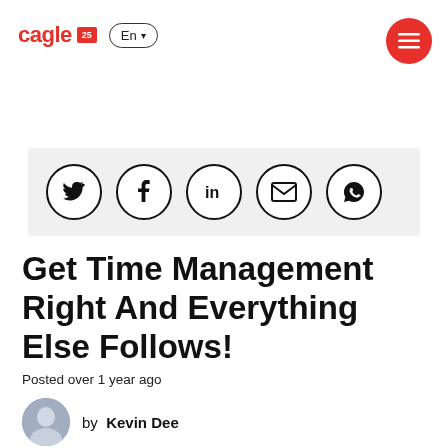eagle 25 En ▾ [menu button]
[Figure (other): Social media share icons: Twitter, Facebook, LinkedIn, Email, WhatsApp — each in a circle, on a light grey bar]
Get Time Management Right And Everything Else Follows!
Posted over 1 year ago
by  Kevin Dee